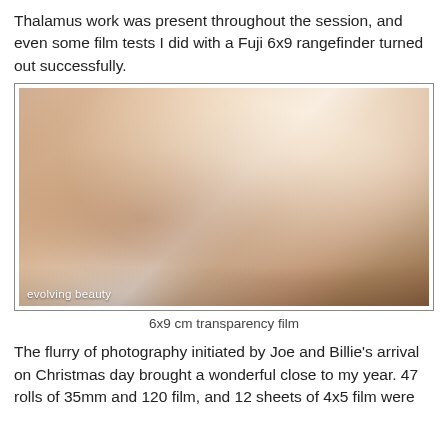Thalamus work was present throughout the session, and even some film tests I did with a Fuji 6x9 rangefinder turned out successfully.
[Figure (photo): Intimate photograph of two people lying together on white bedding, watermarked 'evolving beauty' in lower left corner. Shot on 6x9 cm transparency film.]
6x9 cm transparency film
The flurry of photography initiated by Joe and Billie's arrival on Christmas day brought a wonderful close to my year. 47 rolls of 35mm and 120 film, and 12 sheets of 4x5 film were